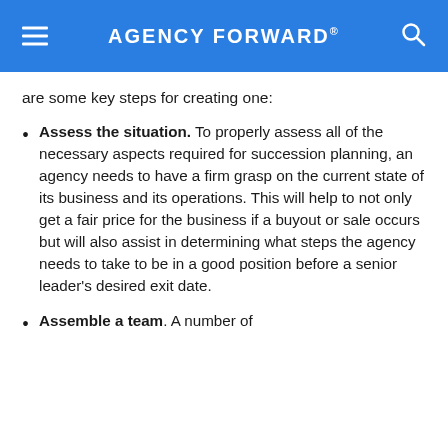AGENCY FORWARD®
are some key steps for creating one:
Assess the situation. To properly assess all of the necessary aspects required for succession planning, an agency needs to have a firm grasp on the current state of its business and its operations. This will help to not only get a fair price for the business if a buyout or sale occurs but will also assist in determining what steps the agency needs to take to be in a good position before a senior leader's desired exit date.
Assemble a team. A number of